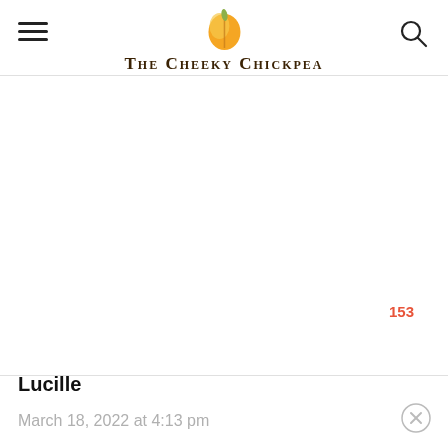The Cheeky Chickpea
[Figure (logo): Orange/yellow chickpea logo icon above the text 'The Cheeky Chickpea']
153
[Figure (illustration): Heart/like button (white circle with red heart outline) with count 153, and an orange/red circular search button below it]
Lucille
March 18, 2022 at 4:13 pm